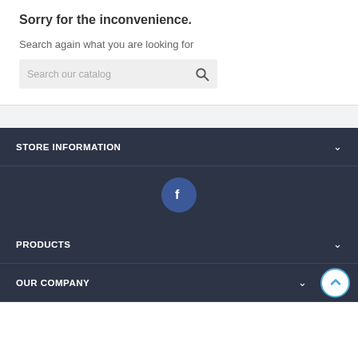Sorry for the inconvenience.
Search again what you are looking for
Search our catalog
STORE INFORMATION
[Figure (logo): Facebook circular icon with white 'f' on dark blue background]
PRODUCTS
OUR COMPANY